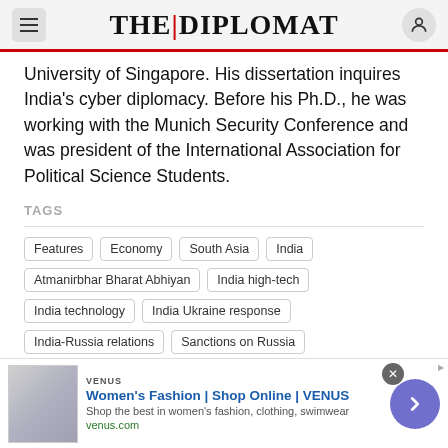THE DIPLOMAT
University of Singapore. His dissertation inquires India’s cyber diplomacy. Before his Ph.D., he was working with the Munich Security Conference and was president of the International Association for Political Science Students.
TAGS
Features
Economy
South Asia
India
Atmanirbhar Bharat Abhiyan
India high-tech
India technology
India Ukraine response
India-Russia relations
Sanctions on Russia
Self-reliance in India
[Figure (other): Advertisement banner: Women's Fashion | Shop Online | VENUS, venus.com]